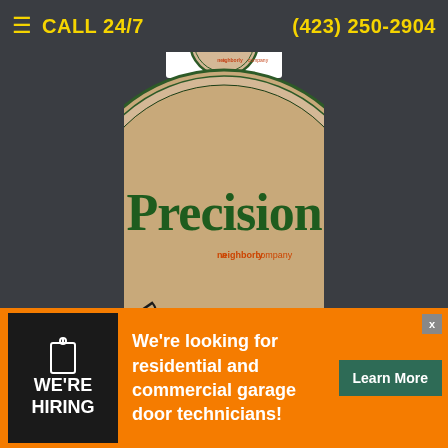CALL 24/7  (423) 250-2904
[Figure (logo): Precision Overhead Garage Door Service logo — circular badge with dark green 'Precision' wordmark, 'DOOR SERVICE' text around bottom arc, beige/cream background, 'a Neighborly company' tagline inside circle]
a neighborly company
Copyright © 2017-2022 | Precision Garage Door® of Johnson City, TN | Privacy Policy
[Figure (infographic): Orange advertisement banner: black box with tag/price-tag icon and 'WE'RE HIRING' text, white ad copy 'We're looking for residential and commercial garage door technicians!', dark green 'Learn More' button, close X button]